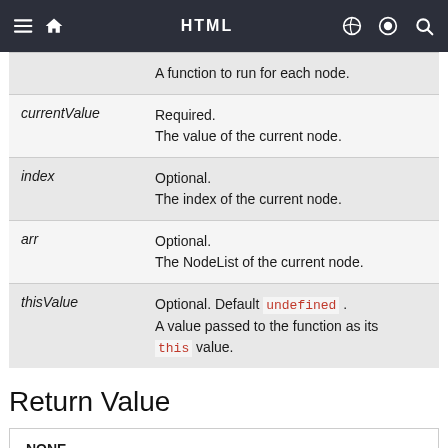HTML
| Parameter | Description |
| --- | --- |
| (partial row) | A function to run for each node. |
| currentValue | Required.
The value of the current node. |
| index | Optional.
The index of the current node. |
| arr | Optional.
The NodeList of the current node. |
| thisValue | Optional. Default undefined .
A value passed to the function as its this value. |
Return Value
| NONE |